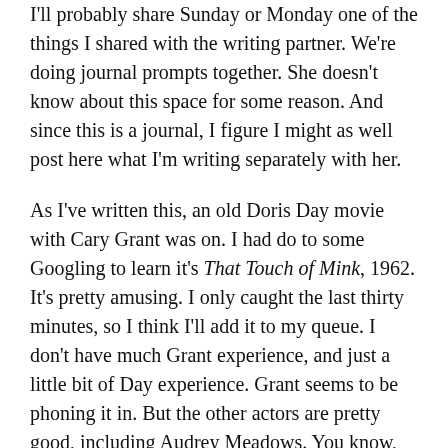I'll probably share Sunday or Monday one of the things I shared with the writing partner. We're doing journal prompts together. She doesn't know about this space for some reason. And since this is a journal, I figure I might as well post here what I'm writing separately with her.
As I've written this, an old Doris Day movie with Cary Grant was on. I had do to some Googling to learn it's That Touch of Mink, 1962. It's pretty amusing. I only caught the last thirty minutes, so I think I'll add it to my queue. I don't have much Grant experience, and just a little bit of Day experience. Grant seems to be phoning it in. But the other actors are pretty good, including Audrey Meadows. You know, from The Honeymooners. I read a synopsis and there's a scene at a Yankees game, with Roger Maris, Yogi Berra, and Mickey Mantle playing themselves.
Okie dokie. Off to bed. Happy fathers day, if you're a dad,